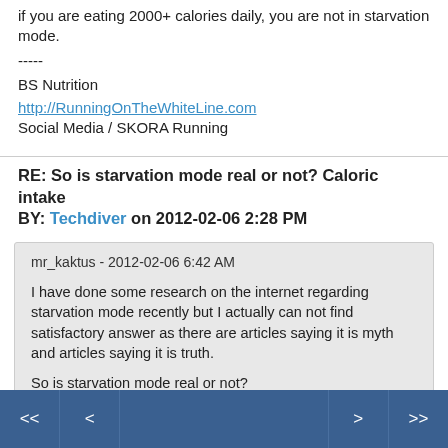if you are eating 2000+ calories daily, you are not in starvation mode.
-----
BS Nutrition
http://RunningOnTheWhiteLine.com
Social Media / SKORA Running
RE: So is starvation mode real or not? Caloric intake BY: Techdiver on 2012-02-06 2:28 PM
mr_kaktus - 2012-02-06 6:42 AM

I have done some research on the internet regarding starvation mode recently but I actually can not find satisfactory answer as there are articles saying it is myth and articles saying it is truth.

So is starvation mode real or not?
<< < > >>